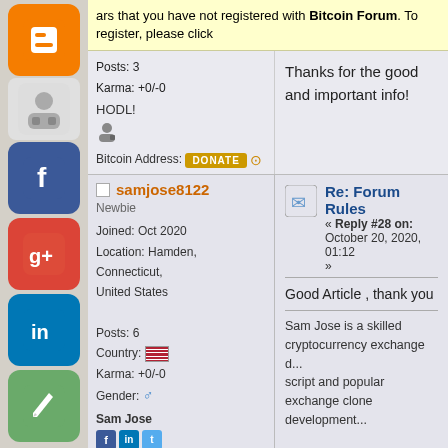ars that you have not registered with Bitcoin Forum. To register, please click
Posts: 3
Karma: +0/-0
Thanks for the good and important info!
HODL!
Bitcoin Address: [DONATE]
samjose8122
Newbie
Joined: Oct 2020
Location: Hamden, Connecticut, United States
Re: Forum Rules
« Reply #28 on: October 20, 2020, 01:12 »
Good Article , thank you
Sam Jose is a skilled cryptocurrency exchange d... script and popular exchange clone development...
Posts: 6
Country: [US flag]
Karma: +0/-0
Gender: [male]
Sam Jose